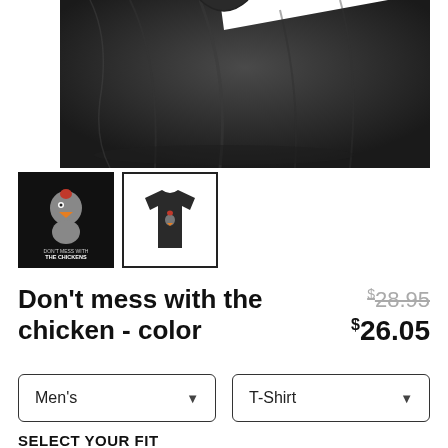[Figure (photo): Dark gray/charcoal folded t-shirt product photo, shown from above, partially cropped at top]
[Figure (photo): Thumbnail 1: Black background with cartoon chicken graphic and text 'Don't mess with the CHICKENS']
[Figure (photo): Thumbnail 2: Dark t-shirt with chicken graphic, selected state with black border]
Don't mess with the chicken - color
$28.95 (strikethrough original price) $26.05 (sale price)
Men's (dropdown)
T-Shirt (dropdown)
SELECT YOUR FIT